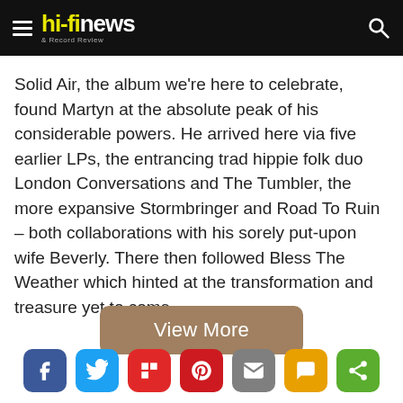hi-fi news & Record Review
Solid Air, the album we're here to celebrate, found Martyn at the absolute peak of his considerable powers. He arrived here via five earlier LPs, the entrancing trad hippie folk duo London Conversations and The Tumbler, the more expansive Stormbringer and Road To Ruin – both collaborations with his sorely put-upon wife Beverly. There then followed Bless The Weather which hinted at the transformation and treasure yet to come.
[Figure (other): View More button — brown/tan rounded rectangle button with white text 'View More']
[Figure (other): Social share icons row: Facebook (blue), Twitter (light blue), Flipboard (red), Pinterest (red), Email (grey), SMS/message (yellow), Share (green)]